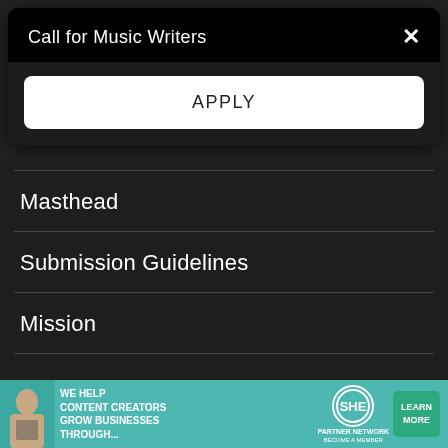Call for Music Writers
APPLY
Masthead
Submission Guidelines
Mission
BIZ
Advertising
[Figure (screenshot): Advertisement banner: teal background with a woman holding a tablet, text reading 'WE HELP CONTENT CREATORS GROW BUSINESSES THROUGH...', SHE Media Partner Network logo, and a green 'LEARN MORE' button with 'BECOME A MEMBER' subtitle.]